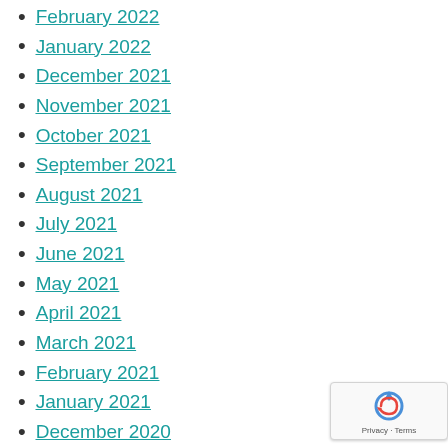February 2022
January 2022
December 2021
November 2021
October 2021
September 2021
August 2021
July 2021
June 2021
May 2021
April 2021
March 2021
February 2021
January 2021
December 2020
[Figure (other): reCAPTCHA privacy badge with circular arrow icon and Privacy · Terms text]